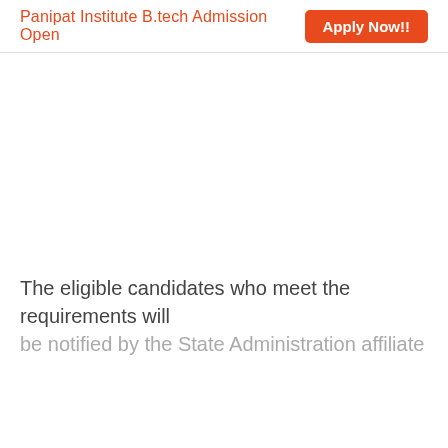Panipat Institute B.tech Admission Open   Apply Now!!
The eligible candidates who meet the requirements will be notified by the State Administration affiliate Candidate...